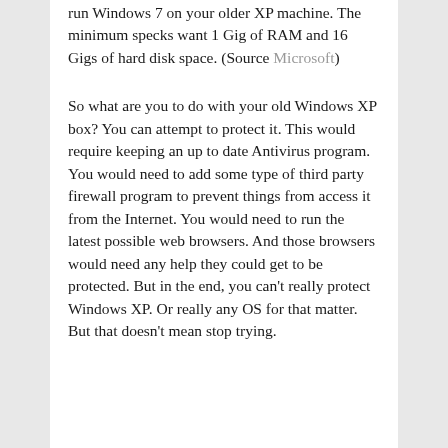run Windows 7 on your older XP machine. The minimum specks want 1 Gig of RAM and 16 Gigs of hard disk space. (Source Microsoft)
So what are you to do with your old Windows XP box? You can attempt to protect it. This would require keeping an up to date Antivirus program. You would need to add some type of third party firewall program to prevent things from access it from the Internet. You would need to run the latest possible web browsers. And those browsers would need any help they could get to be protected. But in the end, you can't really protect Windows XP. Or really any OS for that matter. But that doesn't mean stop trying.